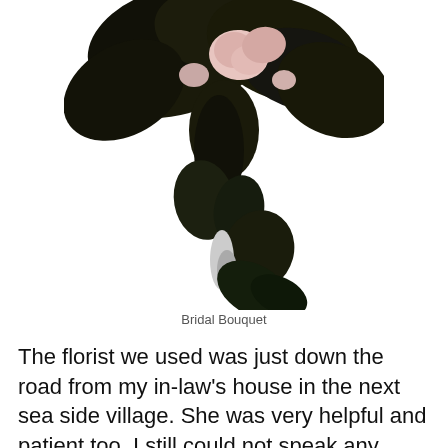[Figure (photo): A bridal bouquet with dark foliage and light pink roses, photographed against a white background. The bouquet appears upside-down or at an angle showing the underside.]
Bridal Bouquet
The florist we used was just down the road from my in-law's house in the next sea side village.  She was very helpful and patient too.  I still could not speak any Italian, so my husband translated between us.  The florist had a lot of beautiful books and magazines for me to look through to choose my selection.  For my flowers I decided to keep some consistency between the bridal bouquet and the flowers in the church, on the